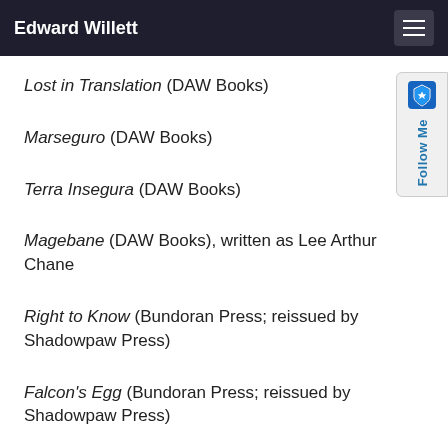Edward Willett
Lost in Translation (DAW Books)
Marseguro (DAW Books)
Terra Insegura (DAW Books)
Magebane (DAW Books), written as Lee Arthur Chane
Right to Know (Bundoran Press; reissued by Shadowpaw Press)
Falcon's Egg (Bundoran Press; reissued by Shadowpaw Press)
The Cityborn (DAW Books)
Worldborn (DAW Books)